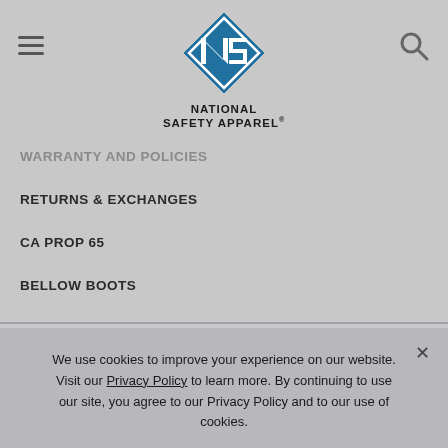[Figure (logo): National Safety Apparel logo — blue diamond shape with white N and S letters, text below reads NATIONAL SAFETY APPAREL with registered trademark symbol]
WARRANTY AND POLICIES
RETURNS & EXCHANGES
CA PROP 65
BELLOW BOOTS
We use cookies to improve your experience on our website. Visit our Privacy Policy to learn more. By continuing to use our site, you agree to our Privacy Policy and to our use of cookies.
OK